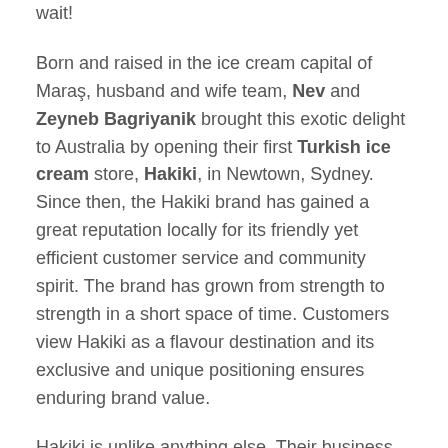wait!
Born and raised in the ice cream capital of Maraş, husband and wife team, Nev and Zeyneb Bagriyanik brought this exotic delight to Australia by opening their first Turkish ice cream store, Hakiki, in Newtown, Sydney. Since then, the Hakiki brand has gained a great reputation locally for its friendly yet efficient customer service and community spirit. The brand has grown from strength to strength in a short space of time. Customers view Hakiki as a flavour destination and its exclusive and unique positioning ensures enduring brand value.
Hakiki is unlike anything else. Their business offering is shaped with unique products – traditional baklava, Turkish delight, incredible ice cream and signature Turkish